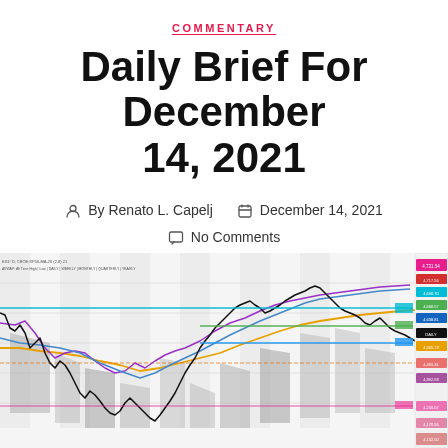COMMENTARY
Daily Brief For December 14, 2021
By Renato L. Capelj   December 14, 2021
No Comments
[Figure (continuous-plot): Financial trading chart showing price action with multiple moving average lines (yellow, blue, purple, black), gray shaded volume/market profile areas, horizontal support/resistance levels in cyan, green, blue, and pink on the right side, with a legend panel on the far right showing price levels and colored labels.]